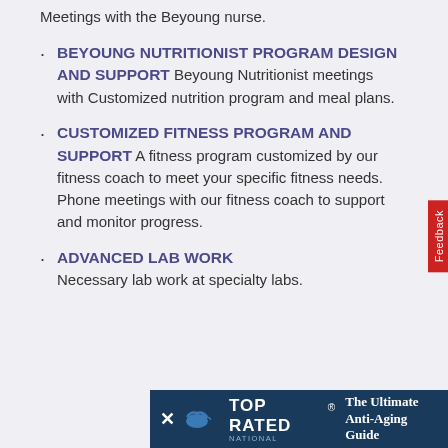Meetings with the Beyoung nurse.
BEYOUNG NUTRITIONIST PROGRAM DESIGN AND SUPPORT Beyoung Nutritionist meetings with Customized nutrition program and meal plans.
CUSTOMIZED FITNESS PROGRAM AND SUPPORT A fitness program customized by our fitness coach to meet your specific fitness needs. Phone meetings with our fitness coach to support and monitor progress.
ADVANCED LAB WORK Necessary lab work at specialty labs.
[Figure (infographic): Bottom advertisement banner: Top Rated National seal with text 'The Ultimate Anti-Aging Guide' on dark blue background]